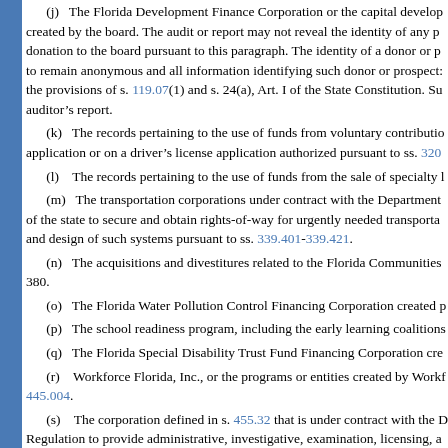(j) The Florida Development Finance Corporation or the capital development created by the board. The audit or report may not reveal the identity of any p donation to the board pursuant to this paragraph. The identity of a donor or p to remain anonymous and all information identifying such donor or prospect: the provisions of s. 119.07(1) and s. 24(a), Art. I of the State Constitution. Su auditor’s report.
(k) The records pertaining to the use of funds from voluntary contributio application or on a driver’s license application authorized pursuant to ss. 320
(l) The records pertaining to the use of funds from the sale of specialty l
(m) The transportation corporations under contract with the Department of the state to secure and obtain rights-of-way for urgently needed transporta and design of such systems pursuant to ss. 339.401-339.421.
(n) The acquisitions and divestitures related to the Florida Communities 380.
(o) The Florida Water Pollution Control Financing Corporation created p
(p) The school readiness program, including the early learning coalitions
(q) The Florida Special Disability Trust Fund Financing Corporation cre
(r) Workforce Florida, Inc., or the programs or entities created by Workf 445.004.
(s) The corporation defined in s. 455.32 that is under contract with the D Regulation to provide administrative, investigative, examination, licensing, a accordance with the provisions of s. 455.32 and the practice act of the releva
(t) The Florida Engineers Management Corporation created pursuant to